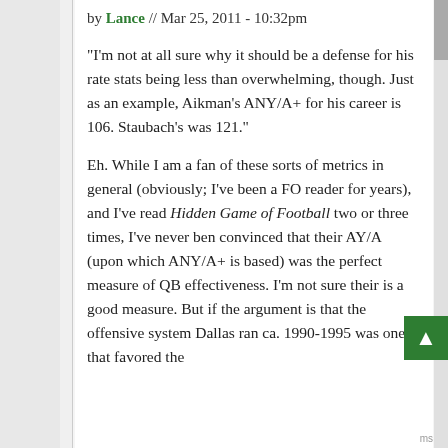by Lance // Mar 25, 2011 - 10:32pm
"I'm not at all sure why it should be a defense for his rate stats being less than overwhelming, though. Just as an example, Aikman's ANY/A+ for his career is 106. Staubach's was 121."
Eh. While I am a fan of these sorts of metrics in general (obviously; I've been a FO reader for years), and I've read Hidden Game of Football two or three times, I've never ben convinced that their AY/A (upon which ANY/A+ is based) was the perfect measure of QB effectiveness. I'm not sure their is a good measure. But if the argument is that the offensive system Dallas ran ca. 1990-1995 was one that favored the